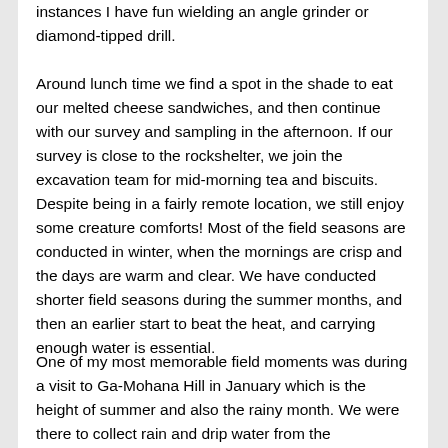instances I have fun wielding an angle grinder or diamond-tipped drill.
Around lunch time we find a spot in the shade to eat our melted cheese sandwiches, and then continue with our survey and sampling in the afternoon. If our survey is close to the rockshelter, we join the excavation team for mid-morning tea and biscuits. Despite being in a fairly remote location, we still enjoy some creature comforts! Most of the field seasons are conducted in winter, when the mornings are crisp and the days are warm and clear. We have conducted shorter field seasons during the summer months, and then an earlier start to beat the heat, and carrying enough water is essential.
One of my most memorable field moments was during a visit to Ga-Mohana Hill in January which is the height of summer and also the rainy month. We were there to collect rain and drip water from the rockshelter and surrounding areas. As we were walking up the steep hillside to the shelter, we heard rumbling and a large, low storm cloud appeared. We observed the clouds roll across